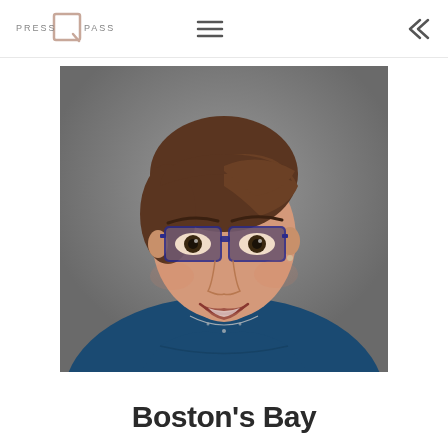PRESS PASS
[Figure (photo): Professional headshot of a woman with short brown hair, wearing purple/tortoiseshell glasses and a navy blue top with a delicate necklace, smiling against a gray background]
Boston's Bay